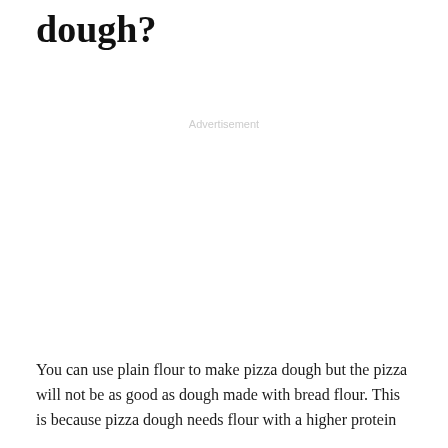dough?
Advertisement
You can use plain flour to make pizza dough but the pizza will not be as good as dough made with bread flour. This is because pizza dough needs flour with a higher protein